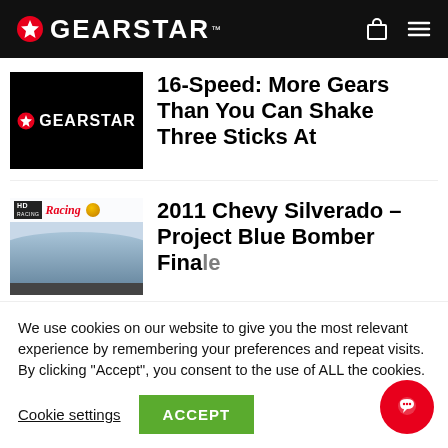GEARSTAR™
[Figure (logo): Gearstar logo on black background thumbnail]
16-Speed: More Gears Than You Can Shake Three Sticks At
[Figure (photo): Racing car / Chevy Silverado thumbnail image with HD badge and racing logo]
2011 Chevy Silverado – Project Blue Bomber Finale
We use cookies on our website to give you the most relevant experience by remembering your preferences and repeat visits. By clicking “Accept”, you consent to the use of ALL the cookies.
Cookie settings
ACCEPT